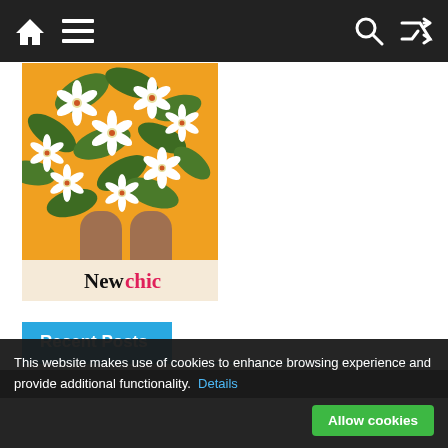Navigation bar with home, menu, search, and shuffle icons
[Figure (photo): Fashion product photo showing an orange floral skirt/dress with white flowers and green leaves, model's legs visible, Newchic logo at bottom]
Recent Posts
This website makes use of cookies to enhance browsing experience and provide additional functionality. Details
Allow cookies